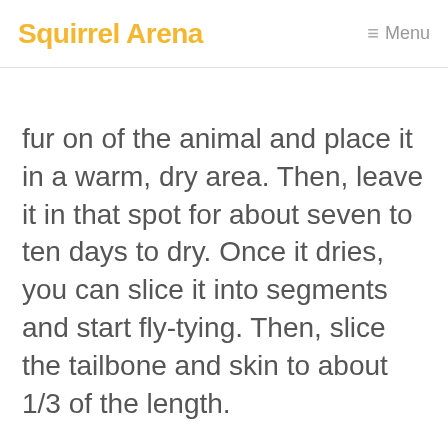Squirrel Arena  ≡ Menu
fur on of the animal and place it in a warm, dry area. Then, leave it in that spot for about seven to ten days to dry. Once it dries, you can slice it into segments and start fly-tying. Then, slice the tailbone and skin to about 1/3 of the length.